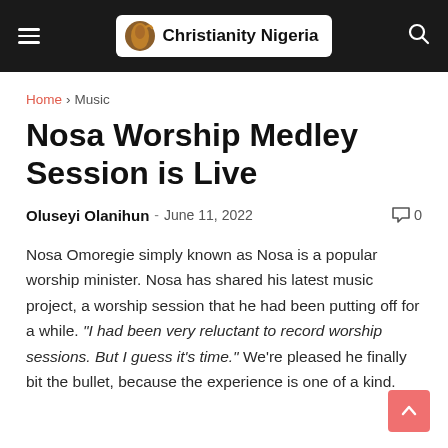Christianity Nigeria
Home › Music
Nosa Worship Medley Session is Live
Oluseyi Olanihun - June 11, 2022  0
Nosa Omoregie simply known as Nosa is a popular worship minister. Nosa has shared his latest music project, a worship session that he had been putting off for a while. "I had been very reluctant to record worship sessions. But I guess it's time." We're pleased he finally bit the bullet, because the experience is one of a kind.